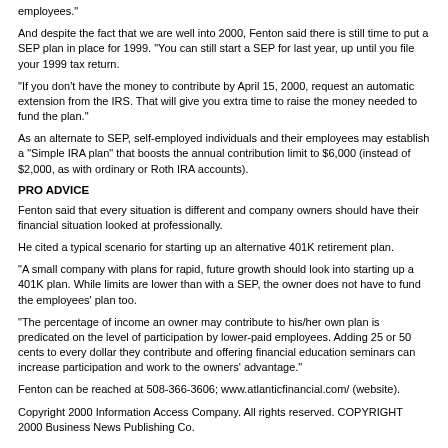employees."
And despite the fact that we are well into 2000, Fenton said there is still time to put a SEP plan in place for 1999. "You can still start a SEP for last year, up until you file your 1999 tax return.
"If you don't have the money to contribute by April 15, 2000, request an automatic extension from the IRS. That will give you extra time to raise the money needed to fund the plan."
As an alternate to SEP, self-employed individuals and their employees may establish a "Simple IRA plan" that boosts the annual contribution limit to $6,000 (instead of $2,000, as with ordinary or Roth IRA accounts).
PRO ADVICE
Fenton said that every situation is different and company owners should have their financial situation looked at professionally.
He cited a typical scenario for starting up an alternative 401K retirement plan.
"A small company with plans for rapid, future growth should look into starting up a 401K plan. While limits are lower than with a SEP, the owner does not have to fund the employees' plan too.
"The percentage of income an owner may contribute to his/her own plan is predicated on the level of participation by lower-paid employees. Adding 25 or 50 cents to every dollar they contribute and offering financial education seminars can increase participation and work to the owners' advantage."
Fenton can be reached at 508-366-3606; www.atlanticfinancial.com/ (website).
Copyright 2000 Information Access Company. All rights reserved. COPYRIGHT 2000 Business News Publishing Co.